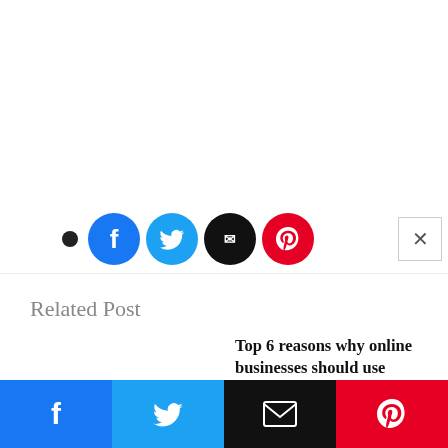[Figure (screenshot): Social share icons row: small black dot, Facebook blue circle, Twitter cyan circle, black circle, Pinterest red circle, and an X close button on the right]
Related Post
Top 6 reasons why online businesses should use residential proxies
The global e-commerce sector is a thriving market. Based on eMarketer data, electronic retail sales…
The final stage of negotiations: Ukrainian cryptocurrency exchange
[Figure (screenshot): Bottom share bar with Facebook, Twitter, Email, and Pinterest buttons]
[Figure (other): Scroll-to-top circular grey button with upward triangle arrow]